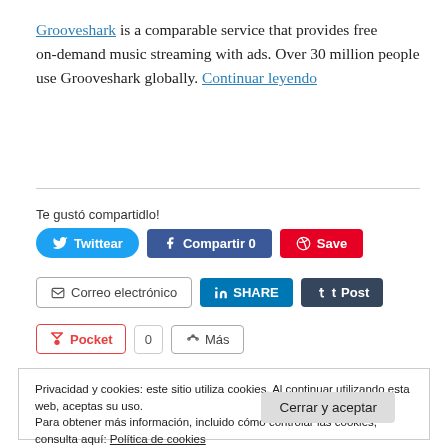Grooveshark is a comparable service that provides free on-demand music streaming with ads. Over 30 million people use Grooveshark globally. Continuar leyendo
Te gustó compartidlo!
[Figure (infographic): Social share buttons: Twittear (Twitter), Compartir 0 (Facebook), Save (Pinterest), Correo electrónico (Email), SHARE (LinkedIn), Post (Tumblr), Pocket with count 0, Más (More)]
Privacidad y cookies: este sitio utiliza cookies. Al continuar utilizando esta web, aceptas su uso.
Para obtener más información, incluido cómo controlar las cookies, consulta aquí: Política de cookies
Cerrar y aceptar